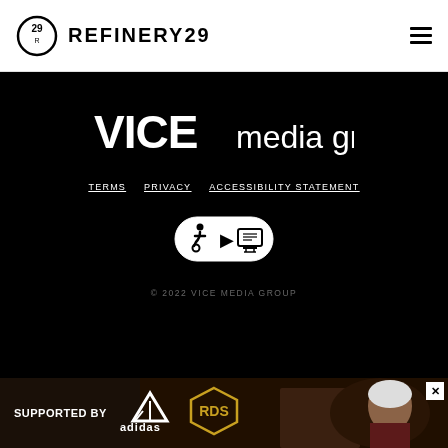REFINERY29
[Figure (logo): VICE media group logo in white on black background]
TERMS   PRIVACY   ACCESSIBILITY STATEMENT
[Figure (logo): Accessibility badge with wheelchair and screen icons]
© 2022 VICE MEDIA GROUP
[Figure (photo): Ad banner: SUPPORTED BY adidas and RDS logos, with photo of person in background]